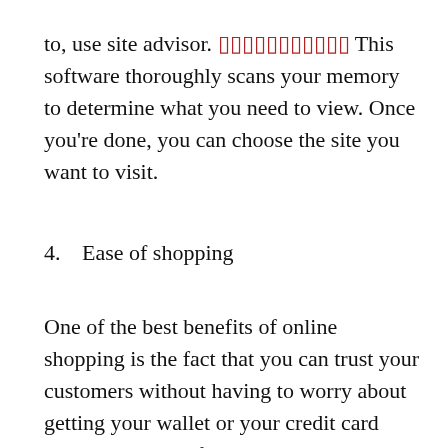to, use site advisor. [redacted link] This software thoroughly scans your memory to determine what you need to view. Once you're done, you can choose the site you want to visit.
4. Ease of shopping
One of the best benefits of online shopping is the fact that you can trust your customers without having to worry about getting your wallet or your credit card numbers stolen. If you use online shopping, there's a reason why you can trust your items and you can be sure that your money will be returned.
Simply because a site is secure does not always mean that it is fraud-free. This is because a lot of